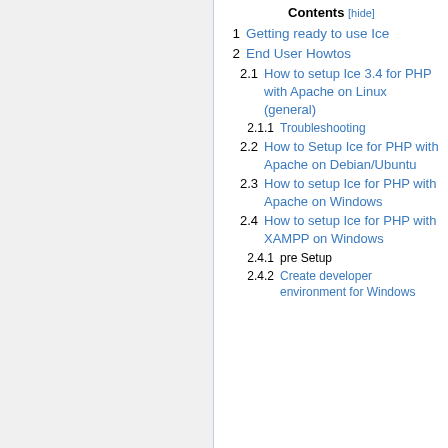Contents [hide]
1  Getting ready to use Ice
2  End User Howtos
2.1  How to setup Ice 3.4 for PHP with Apache on Linux (general)
2.1.1  Troubleshooting
2.2  How to Setup Ice for PHP with Apache on Debian/Ubuntu
2.3  How to setup Ice for PHP with Apache on Windows
2.4  How to setup Ice for PHP with XAMPP on Windows
2.4.1  pre Setup
2.4.2  Create developer environment for Windows